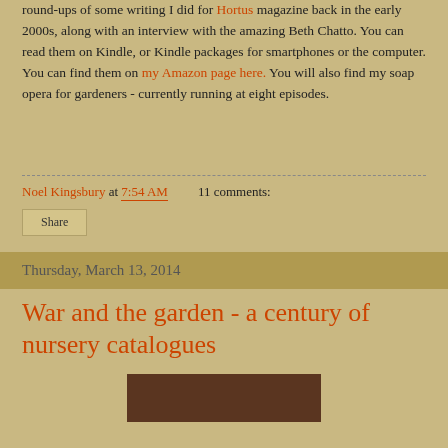round-ups of some writing I did for Hortus magazine back in the early 2000s, along with an interview with the amazing Beth Chatto. You can read them on Kindle, or Kindle packages for smartphones or the computer. You can find them on my Amazon page here. You will also find my soap opera for gardeners - currently running at eight episodes.
Noel Kingsbury at 7:54 AM   11 comments:
Share
Thursday, March 13, 2014
War and the garden - a century of nursery catalogues
[Figure (photo): Dark reddish-brown image, partially visible at bottom of page]